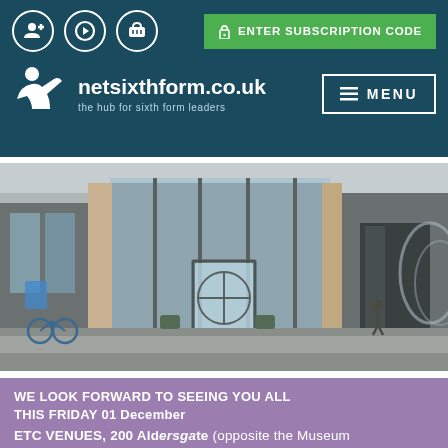netsixthform.co.uk — the hub for sixth form leaders | ENTER SUBSCRIPTION CODE | MENU
[Figure (photo): Exterior photograph of ETC Venues, 200 Aldersgate — a modern glass-fronted building entrance with revolving doors, grey cladding, and a person walking nearby]
WE LOOK FORWARD TO SEEING YOU ALL THIS FRIDAY 01 December
ETC VENUES, 200 Aldersgate (opposite the Museum